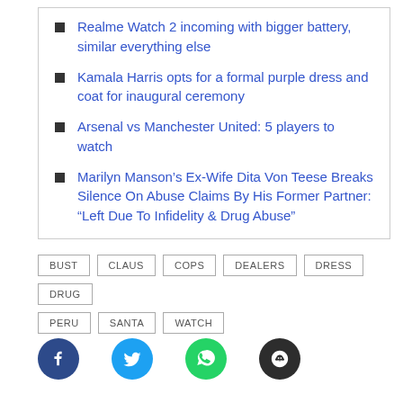Realme Watch 2 incoming with bigger battery, similar everything else
Kamala Harris opts for a formal purple dress and coat for inaugural ceremony
Arsenal vs Manchester United: 5 players to watch
Marilyn Manson's Ex-Wife Dita Von Teese Breaks Silence On Abuse Claims By His Former Partner: “Left Due To Infidelity & Drug Abuse”
BUST  CLAUS  COPS  DEALERS  DRESS  DRUG  PERU  SANTA  WATCH